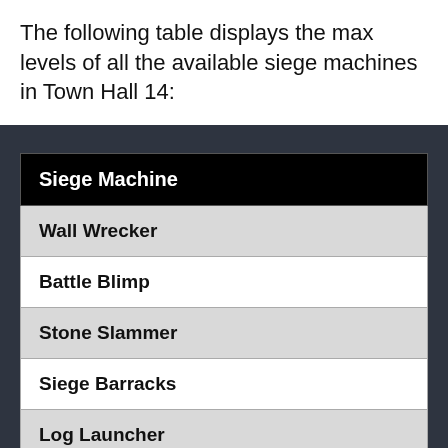The following table displays the max levels of all the available siege machines in Town Hall 14:
| Siege Machine |
| --- |
| Wall Wrecker |
| Battle Blimp |
| Stone Slammer |
| Siege Barracks |
| Log Launcher |
| Flame Flinger |
It can also be written as: